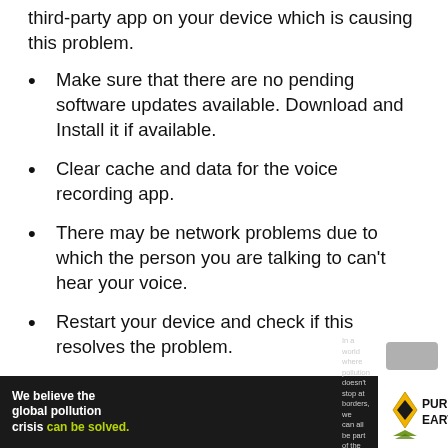third-party app on your device which is causing this problem.
Make sure that there are no pending software updates available. Download and Install it if available.
Clear cache and data for the voice recording app.
There may be network problems due to which the person you are talking to can’t hear your voice.
Restart your device and check if this resolves the problem.
[Figure (infographic): Pure Earth advertisement banner: 'We believe the global pollution crisis can be solved. In a world where pollution doesn’t stop at borders, we can all be part of the solution. JOIN US.' with Pure Earth logo.]